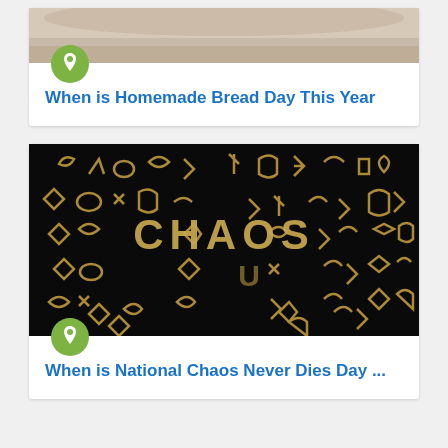[Figure (photo): Homemade bread image cropped at top]
[Figure (illustration): Green circular pin/bookmark icon]
When is Homemade Bread Day This Year
[Figure (photo): Dark background with golden scattered letters spelling CHAOS in the center]
[Figure (illustration): Green circular pin/bookmark icon]
When is National Chaos Never Dies Day ...